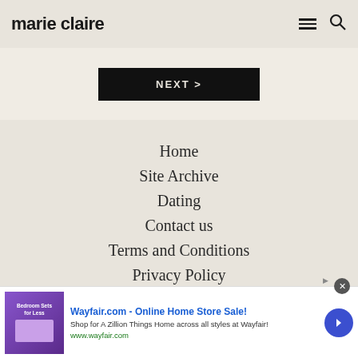marie claire
NEXT >
Home
Site Archive
Dating
Contact us
Terms and Conditions
Privacy Policy
Cookie Information
About Marie Claire
[Figure (screenshot): Wayfair.com advertisement banner with purple bedroom image, blue arrow button, and ad text]